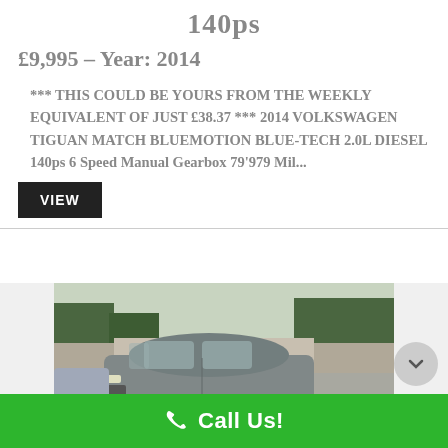140ps
£9,995 – Year: 2014
*** THIS COULD BE YOURS FROM THE WEEKLY EQUIVALENT OF JUST £38.37 *** 2014 VOLKSWAGEN TIGUAN MATCH BLUEMOTION BLUE-TECH 2.0L DIESEL 140ps 6 Speed Manual Gearbox 79'979 Mil...
VIEW
[Figure (photo): Photo of a grey Volkswagen Golf hatchback parked in a car dealership forecourt, with trees and a building visible in the background.]
Call Us!